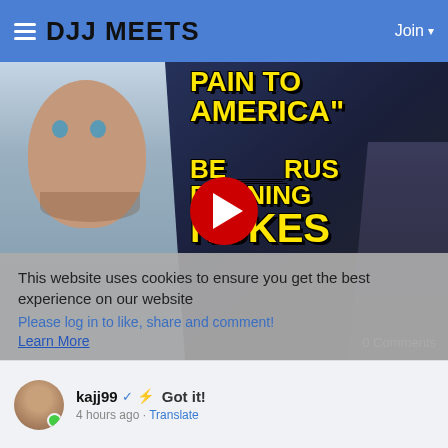DJJ MEETS | Join
[Figure (screenshot): YouTube-style video thumbnail showing a man on the left with alarmed expression, bold yellow text reading 'PAIN TO AMERICA BELARUS RUNNING NUKES', and a man in a suit on the right. A red YouTube play button is centered.]
This website uses cookies to ensure you get the best experience on our website
Please log in to like, share and comment!
Learn More
0 Comments
kajj99 ✓ ⚡ Got it! 4 hours ago · Translate